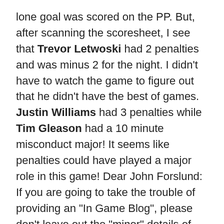lone goal was scored on the PP. But, after scanning the scoresheet, I see that Trevor Letwoski had 2 penalties and was minus 2 for the night. I didn't have to watch the game to figure out that he didn't have the best of games. Justin Williams had 3 penalties while Tim Gleason had a 10 minute misconduct major! It seems like penalties could have played a major role in this game! Dear John Forslund: If you are going to take the trouble of providing an "In Game Blog", please don't leave out the "minor" details of what a player did to earn a 10 minute misconduct penalty! That's a little unusual, especially for a Hurricanes player and one would think that it would be at least mentioned in an "In Game Blog". Oh well, we'll have to guess for now how he earned that one.